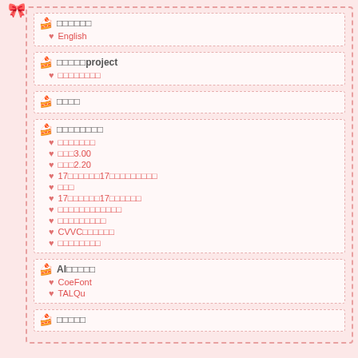[Figure (screenshot): Left navigation panel with pink/rose theme, dashed borders, cake icons, heart icons, menu items in Japanese with some English text (English, project, AI, CoeFont, TALQu), pink bow at top-left]
[Figure (illustration): Right side showing anime character illustration (chibi girl with pink hair and cake), orange header bar, privacy policy bar, Buffet Lunch text, second anime image at bottom, amitar username tag]